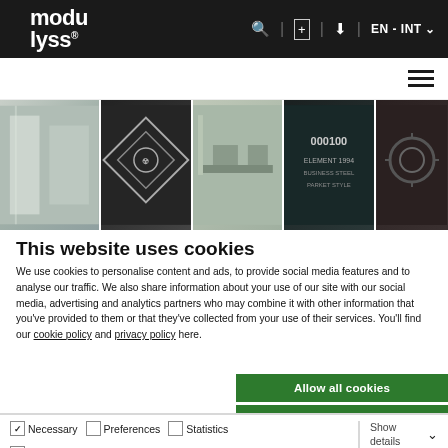modulyss® EN - INT
[Figure (photo): Website header image strip showing four panels: a light interior architectural view, a dark diamond badge logo, an office with chairs and table, and a dark chalkboard/mechanical display]
This website uses cookies
We use cookies to personalise content and ads, to provide social media features and to analyse our traffic. We also share information about your use of our site with our social media, advertising and analytics partners who may combine it with other information that you've provided to them or that they've collected from your use of their services. You'll find our cookie policy and privacy policy here.
Allow all cookies
Allow selection
Use necessary cookies only
Necessary  Preferences  Statistics  Show details  Marketing